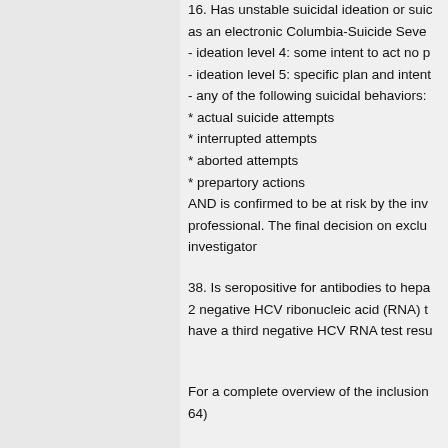16. Has unstable suicidal ideation or suicidal ideation as an electronic Columbia-Suicide Severity Rating Scale - ideation level 4: some intent to act no plan - ideation level 5: specific plan and intent - any of the following suicidal behaviors: * actual suicide attempts * interrupted attempts * aborted attempts * prepartory actions AND is confirmed to be at risk by the investigator or medical professional. The final decision on exclusion belongs to the investigator
38. Is seropositive for antibodies to hepatitis C virus (HCV) with 2 negative HCV ribonucleic acid (RNA) tests, unless they also have a third negative HCV RNA test result
For a complete overview of the inclusion and exclusion criteria, see protocol section (64)
| point(s) | The proportion of subjects who achieve |
| --- | --- |